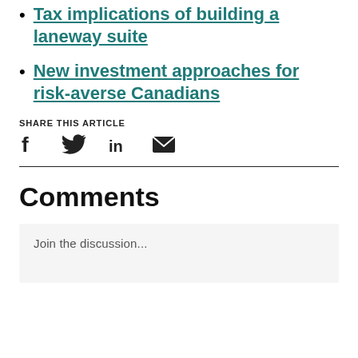Tax implications of building a laneway suite
New investment approaches for risk-averse Canadians
SHARE THIS ARTICLE
Comments
Join the discussion...